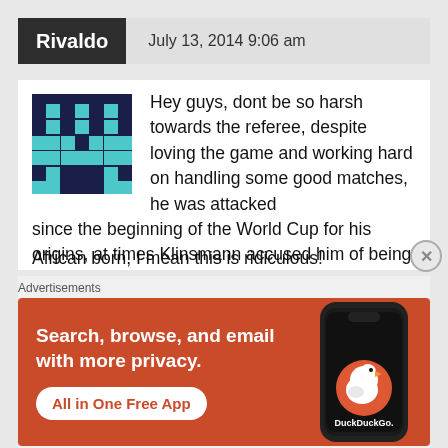Rivaldo   July 13, 2014 9:06 am
Hey guys, dont be so harsh towards the referee, despite loving the game and working hard on handling some good matches, he was attacked since the beginning of the World Cup for his origins, at times Klinsmann accused him of being a french speaker and possibly arriving to agreements with the Belgian players on the field, at other times he was accused of being an African born, I mean this is ridiculous!
[Figure (illustration): Pixel art avatar: dark blue background with teal/cyan pixel character pattern]
Advertisements
[Figure (screenshot): DuckDuckGo advertisement banner: orange/red background, white text 'Search, browse, and email with more privacy.' with 'All in One Free App' button and phone image showing DuckDuckGo logo]